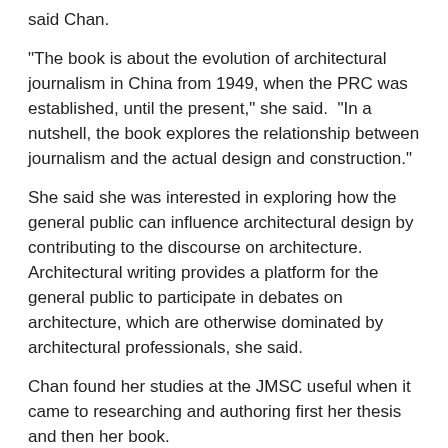said Chan.
"The book is about the evolution of architectural journalism in China from 1949, when the PRC was established, until the present," she said.  "In a nutshell, the book explores the relationship between journalism and the actual design and construction."
She said she was interested in exploring how the general public can influence architectural design by contributing to the discourse on architecture.  Architectural writing provides a platform for the general public to participate in debates on architecture, which are otherwise dominated by architectural professionals, she said.
Chan found her studies at the JMSC useful when it came to researching and authoring first her thesis and then her book.
"My studies at the JMSC deeply reinforced my research and writing skills, which have been extremely valuable both within and outside the realm of journalism."